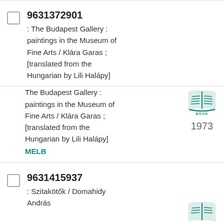9631372901 : The Budapest Gallery : paintings in the Museum of Fine Arts / Klára Garas ; [translated from the Hungarian by Lili Halápy]
The Budapest Gallery : paintings in the Museum of Fine Arts / Klára Garas ; [translated from the Hungarian by Lili Halápy] MELB
[Figure (illustration): Teal/green open book icon with the word BOOK underneath]
1973
9631415937 : Szitakötők / Domahidy András